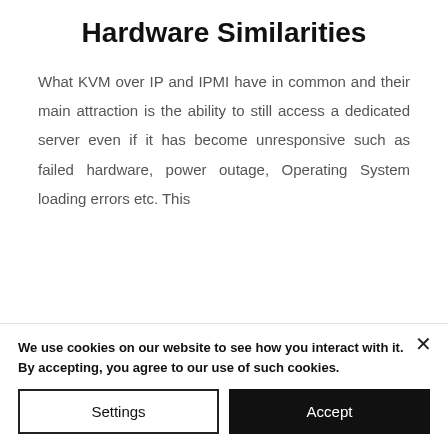Hardware Similarities
What KVM over IP and IPMI have in common and their main attraction is the ability to still access a dedicated server even if it has become unresponsive such as failed hardware, power outage, Operating System loading errors etc. This
We use cookies on our website to see how you interact with it. By accepting, you agree to our use of such cookies.
Settings
Accept